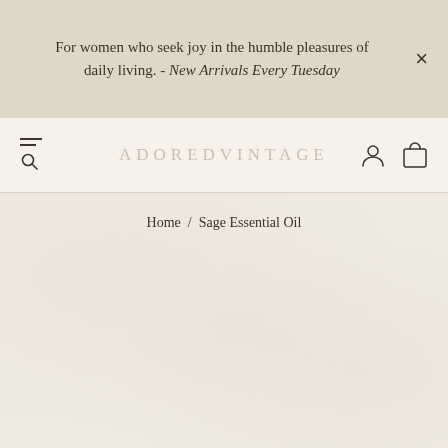For women who seek joy in the humble pleasures of daily living. - New Arrivals Every Tuesday
ADOREDVINTAGE
Home / Sage Essential Oil